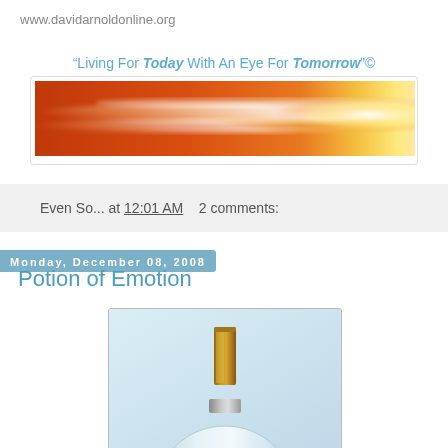www.davidarnoldonline.org
“Living For Today With An Eye For Tomorrow”©
[Figure (photo): Abstract orange and gold light streaks motion blur banner image]
Even So... at 12:01 AM   2 comments:
Monday, December 08, 2008
Potion of Emotion
[Figure (illustration): Illustration of a perfume bottle with gold cap on light blue background, partially visible (bottom cut off)]